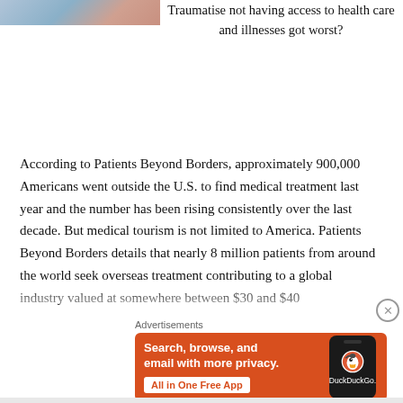[Figure (photo): Partial photo of a medical or health-related scene, cropped at top-left]
Traumatise not having access to health care and illnesses got worst?
According to Patients Beyond Borders, approximately 900,000 Americans went outside the U.S. to find medical treatment last year and the number has been rising consistently over the last decade. But medical tourism is not limited to America. Patients Beyond Borders details that nearly 8 million patients from around the world seek overseas treatment contributing to a global industry valued at somewhere between $30 and $40
Advertisements
[Figure (screenshot): DuckDuckGo advertisement banner: orange background with white text 'Search, browse, and email with more privacy.' and 'All in One Free App' button, alongside a phone showing DuckDuckGo logo]